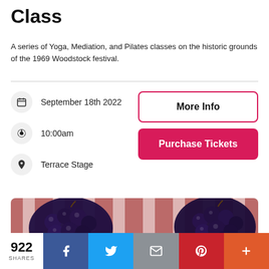Class
A series of Yoga, Mediation, and Pilates classes on the historic grounds of the 1969 Woodstock festival.
September 18th 2022
10:00am
Terrace Stage
[Figure (photo): Close-up photo of dark purple grapes in wooden crates on a red and white checkered tablecloth]
922 SHARES